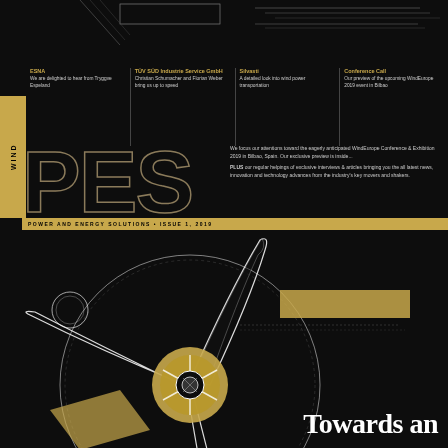[Figure (illustration): Top decorative geometric lines on black background — horizontal lines of varying width forming a technical grid pattern]
ESNA
We are delighted to hear from Tryggve Espeland
TÜV SÜD Industrie Service GmbH
Christian Schumacher and Florian Weber bring us up to speed
Silvasti
A detailed look into wind power transportation
Conference Call
Our preview of the upcoming WindEurope 2019 event in Bilbao
PES
We focus our attentions toward the eagerly anticipated WindEurope Conference & Exhibition 2019 in Bilbao, Spain. Our exclusive preview is inside...
PLUS our regular helpings of exclusive interviews & articles bringing you the all latest news, innovation and technology advances from the industry's key movers and shakers.
POWER AND ENERGY SOLUTIONS • ISSUE 1, 2019
[Figure (illustration): Technical engineering illustration of a wind turbine hub/rotor assembly drawn with white lines on black background, with gold circular hub detail]
Towards an